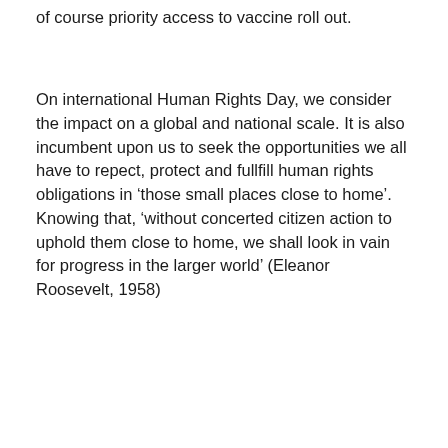of course priority access to vaccine roll out.
On international Human Rights Day, we consider the impact on a global and national scale. It is also incumbent upon us to seek the opportunities we all have to repect, protect and fullfill human rights obligations in ‘those small places close to home’. Knowing that, ‘without concerted citizen action to uphold them close to home, we shall look in vain for progress in the larger world’ (Eleanor Roosevelt, 1958)
Sam Smith – C-Change CEO
Dec 8, 2020
2 Replies
[Figure (photo): Black and white aerial or satellite photograph showing cloud formations or landscape]